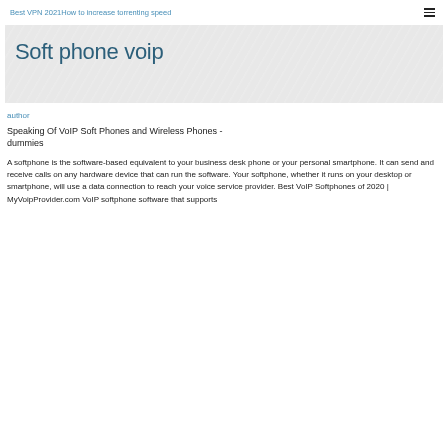Best VPN 2021How to increase torrenting speed
Soft phone voip
author
Speaking Of VoIP Soft Phones and Wireless Phones - dummies
A softphone is the software-based equivalent to your business desk phone or your personal smartphone. It can send and receive calls on any hardware device that can run the software. Your softphone, whether it runs on your desktop or smartphone, will use a data connection to reach your voice service provider. Best VoIP Softphones of 2020 | MyVoipProvider.com VoIP softphone software that supports